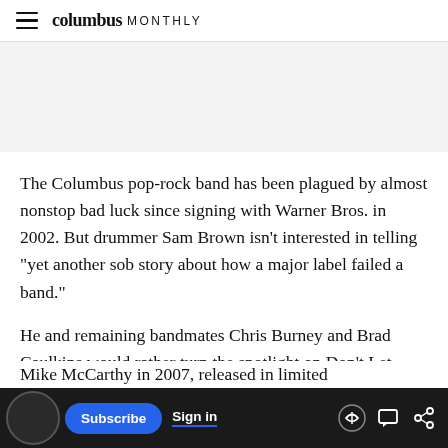columbus MONTHLY
The Columbus pop-rock band has been plagued by almost nonstop bad luck since signing with Warner Bros. in 2002. But drummer Sam Brown isn't interested in telling "yet another sob story about how a major label failed a band."
He and remaining bandmates Chris Burney and Brad Caulkins would rather turn the spotlight on Don't Let Your Baby Have All the Fun, the
Mike McCarthy in 2007, released in limited